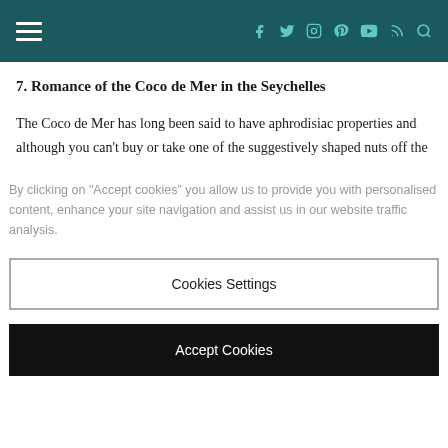Navigation bar with hamburger menu and social icons (Facebook, Twitter, Instagram, Pinterest, YouTube, RSS, Search)
7. Romance of the Coco de Mer in the Seychelles
The Coco de Mer has long been said to have aphrodisiac properties and although you can’t buy or take one of the suggestively shaped nuts off the
By clicking on “Accept cookies” you allow us to provide you with personalised content, enhance your site navigation and assist us in our website traffic analysis.
Cookies Settings
Accept Cookies